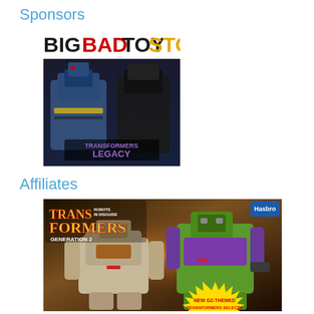Sponsors
[Figure (logo): BigBadToyStore logo in bold black and red lettering]
[Figure (photo): Transformers Legacy product photo showing blue and black robots]
Affiliates
[Figure (photo): Transformers Generation 2 product image showing two robot figures - a tan/beige robot and a green/purple robot, with text 'New G2-Themed Transformers Selects', Hasbro branding]